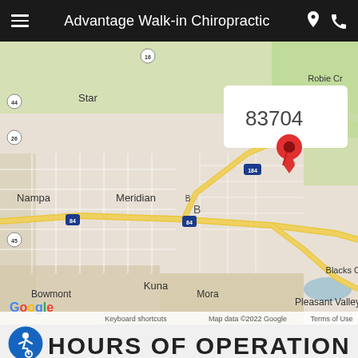Advantage Walk-in Chiropractic
[Figure (map): Google Maps screenshot showing the Boise, Idaho area with two red location pins. One pin near ZIP code 83704 (West Boise/Meridian area) and another near ZIP code 83716 (East Boise). An info popup labeled 'East Boise' with ZIP 83716 is open. Map shows cities: Star, Nampa, Meridian, Kuna, Bowmont, Mora, Pleasant Valley, Blacks Creek, Robie Cr. Highways: I-84, I-184, Route 21, 26, 44, 45, 16. Google Maps attribution and map data copyright 2022 Google shown.]
[Figure (illustration): Blue circular wheelchair accessibility icon]
HOURS OF OPERATION